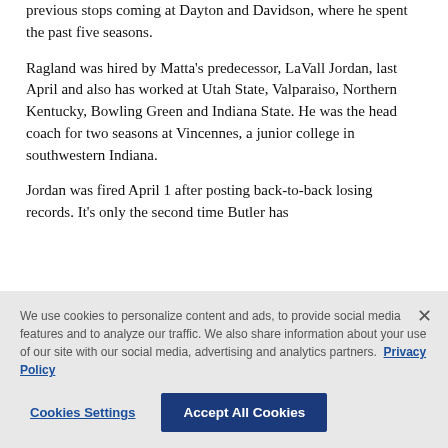previous stops coming at Dayton and Davidson, where he spent the past five seasons.
Ragland was hired by Matta's predecessor, LaVall Jordan, last April and also has worked at Utah State, Valparaiso, Northern Kentucky, Bowling Green and Indiana State. He was the head coach for two seasons at Vincennes, a junior college in southwestern Indiana.
Jordan was fired April 1 after posting back-to-back losing records. It's only the second time Butler has
We use cookies to personalize content and ads, to provide social media features and to analyze our traffic. We also share information about your use of our site with our social media, advertising and analytics partners. Privacy Policy